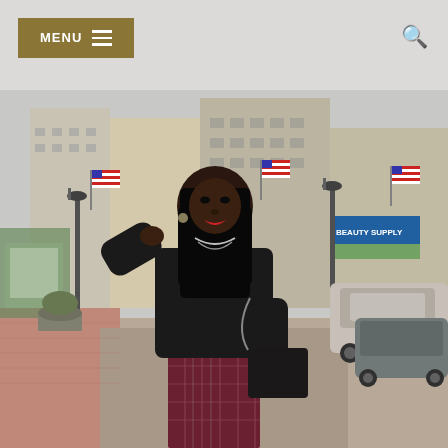MENU
[Figure (photo): A woman wearing a black sweater and plaid midi skirt, holding a black chain bag, standing on a brick city street with American flags, storefronts including a Beauty Supply store, and parked cars visible in the background.]